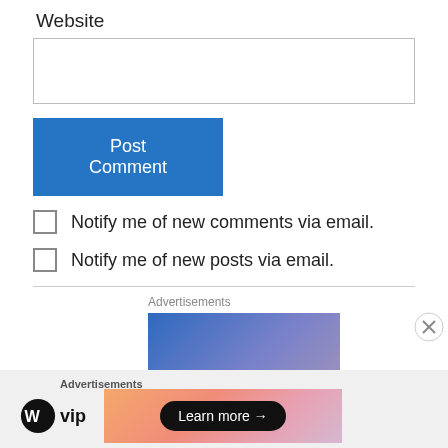Website
[Figure (other): Website text input field, empty, with border]
[Figure (other): Blue 'Post Comment' button]
Notify me of new comments via email.
Notify me of new posts via email.
Advertisements
[Figure (other): Advertisement banner with blue-purple gradient]
Advertisements  WordPress VIP  Learn more →